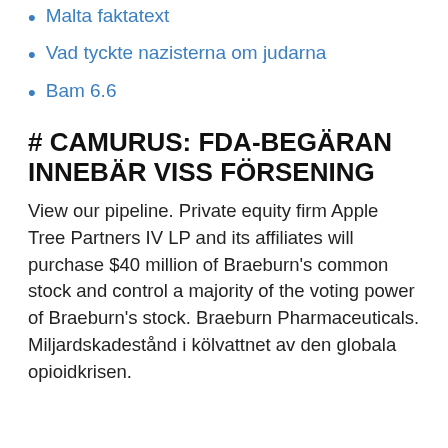Malta faktatext
Vad tyckte nazisterna om judarna
Bam 6.6
# CAMURUS: FDA-BEGÄRAN INNEBÄR VISS FÖRSENING
View our pipeline. Private equity firm Apple Tree Partners IV LP and its affiliates will purchase $40 million of Braeburn's common stock and control a majority of the voting power of Braeburn's stock. Braeburn Pharmaceuticals. Miljardskadestånd i kölvattnet av den globala opioidkrisen.